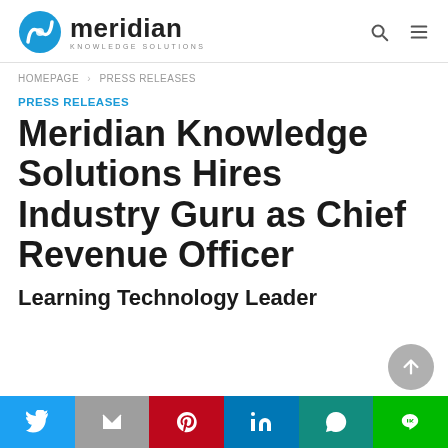Meridian Knowledge Solutions — logo and navigation
HOMEPAGE > PRESS RELEASES
PRESS RELEASES
Meridian Knowledge Solutions Hires Industry Guru as Chief Revenue Officer
Learning Technology Leader